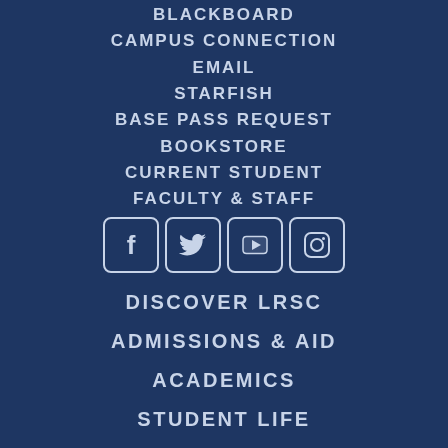BLACKBOARD
CAMPUS CONNECTION
EMAIL
STARFISH
BASE PASS REQUEST
BOOKSTORE
CURRENT STUDENT
FACULTY & STAFF
[Figure (infographic): Social media icons: Facebook, Twitter, YouTube, Instagram — white outlined square icons on dark blue background]
DISCOVER LRSC
ADMISSIONS & AID
ACADEMICS
STUDENT LIFE